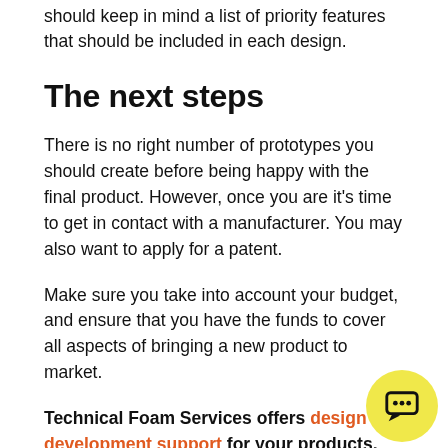should keep in mind a list of priority features that should be included in each design.
The next steps
There is no right number of prototypes you should create before being happy with the final product. However, once you are it's time to get in contact with a manufacturer. You may also want to apply for a patent.
Make sure you take into account your budget, and ensure that you have the funds to cover all aspects of bringing a new product to market.
Technical Foam Services offers design and development support for your products, helping bring your ideas to life. Using our expertise in the field, we are able to not only manufacturer products,